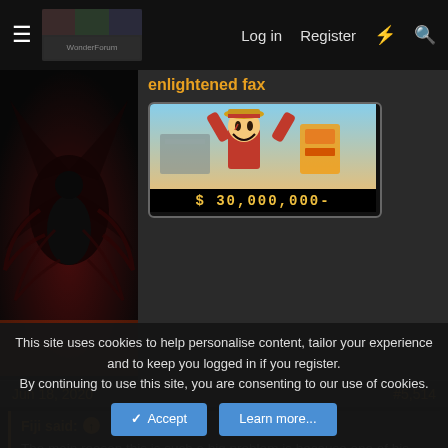Log in  Register
enlightened fax
[Figure (illustration): Anime character bounty poster showing Monkey D. Luffy with arms raised, red shirt, straw hat, with bounty amount $ 30,000,000-]
[Figure (illustration): Dark fantasy artwork showing a shadowy figure with tentacles/wings in black and red]
Jun 18, 2020
#5,514
Fiji said: ↑
The main reason this is such a big problem is because one of his main ideals is that women should be shown the utmost respect, he's chivalrous to the point where he doesn't even want to hit women even
This site uses cookies to help personalise content, tailor your experience and to keep you logged in if you register.
By continuing to use this site, you are consenting to our use of cookies.
Accept
Learn more...